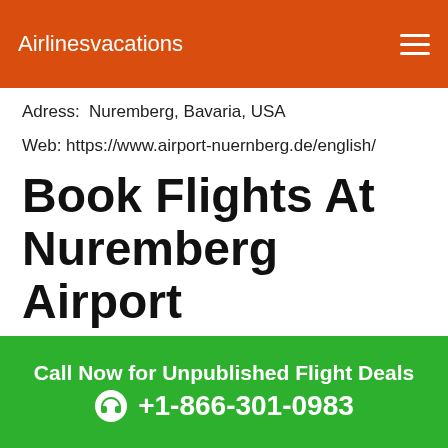Airlinesvacations
Adress:  Nuremberg, Bavaria, USA
Web: https://www.airport-nuernberg.de/english/
Book Flights At Nuremberg Airport
We helps you to find the best flight deals from/to Nuremberg Airport. Get all information about which airline is flying from/to Nuremberg Airport. You can
Call Now for Unpublished Flight Deals
+1-866-301-0983